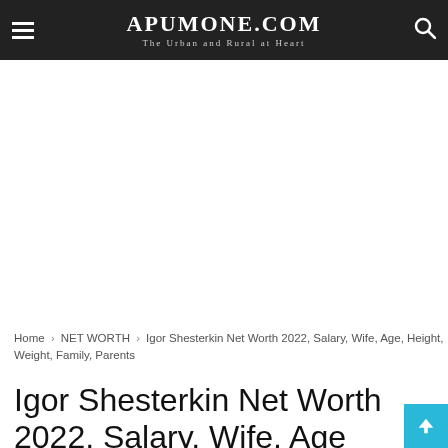APUMONE.COM — The Urban and Rural at Heart
[Advertisement / blank space]
Home › NET WORTH › Igor Shesterkin Net Worth 2022, Salary, Wife, Age, Height, Weight, Family, Parents
Igor Shesterkin Net Worth 2022, Salary, Wife, Age